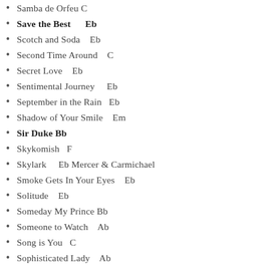Samba de Orfeu C
Save the Best   Eb
Scotch and Soda   Eb
Second Time Around   C
Secret Love   Eb
Sentimental Journey   Eb
September in the Rain   Eb
Shadow of Your Smile   Em
Sir Duke Bb
Skykomish   F
Skylark   Eb Mercer & Carmichael
Smoke Gets In Your Eyes   Eb
Solitude   Eb
Someday My Prince Bb
Someone to Watch   Ab
Song is You   C
Sophisticated Lady   Ab
Soul Eyes   Cm